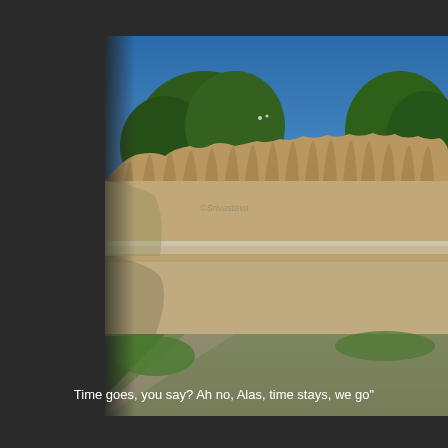[Figure (photo): Outdoor photograph of a large stone monument or frieze featuring many carved human figures along its top edge, with a reflecting pool or water feature at its base. Trees and a clear blue sky are visible in the background. A photographer watermark 'Srivastava' is visible on the stone. Green grass and a pathway are in the foreground. The image has a dark border/background on the left side.]
Time goes, you say? Ah no, Alas, time stays, we go"